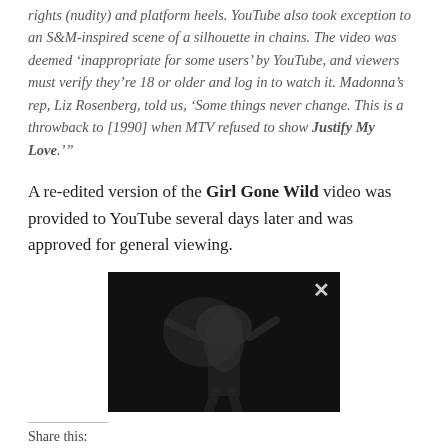rights (nudity) and platform heels. YouTube also took exception to an S&M-inspired scene of a silhouette in chains. The video was deemed 'inappropriate for some users' by YouTube, and viewers must verify they're 18 or older and log in to watch it. Madonna's rep, Liz Rosenberg, told us, 'Some things never change. This is a throwback to [1990] when MTV refused to show Justify My Love.'"'
A re-edited version of the Girl Gone Wild video was provided to YouTube several days later and was approved for general viewing.
[Figure (photo): Dark video thumbnail showing a shadowy silhouette figure, with an X close button in the top right corner]
Share this: